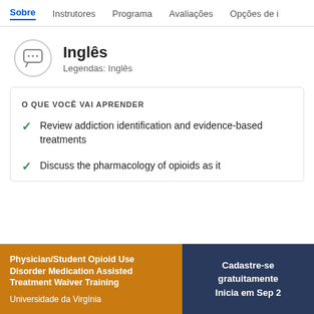Sobre | Instrutores | Programa | Avaliações | Opções de i
[Figure (illustration): Chat bubble icon inside a circle, representing language/communication]
Inglês
Legendas: Inglês
O QUE VOCÊ VAI APRENDER
Review addiction identification and evidence-based treatments
Discuss the pharmacology of opioids as it
Physician/Student Opioid Use Disorder Medication Assisted Treatment Waiver Training
Universidade da Virgínia
Cadastre-se gratuitamente
Inicia em Sep 2